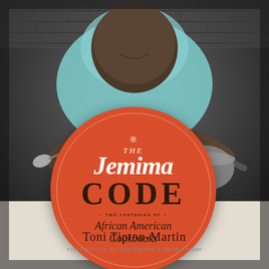[Figure (illustration): Book cover of 'The Jemima Code: Two Centuries of African American Cookbooks' by Toni Tipton-Martin. Background is a black and white photograph of a woman in a teal/mint jacket and white apron, holding a spoon and pot. Overlaid is a large orange/red circle containing the book title. Below: author name and forewords credit.]
The Jemima CODE
TWO CENTURIES OF African American Cookbooks
Toni Tipton-Martin
FOREWORDS BY John Egerton & Barbara Haber